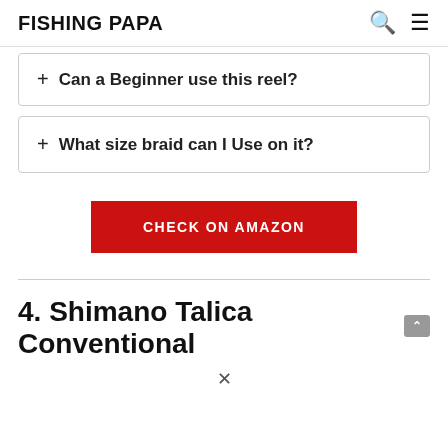FISHING PAPA
+ Can a Beginner use this reel?
+ What size braid can I Use on it?
CHECK ON AMAZON
4. Shimano Talica Conventional